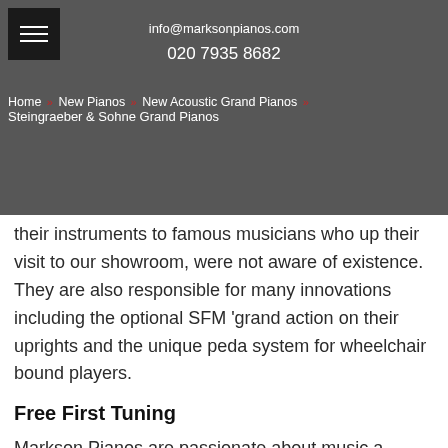info@marksonpianos.com
020 7935 8682
Home » New Pianos » New Acoustic Grand Pianos »
Steingraeber & Sohne Grand Pianos
their instruments to famous musicians who upon their visit to our showroom, were not aware of existence. They are also responsible for many innovations including the optional SFM 'grand action on their uprights and the unique pedal system for wheelchair bound players.
Free First Tuning
Markson Pianos are passionate about music and sound, with a reputation for the highest exactness